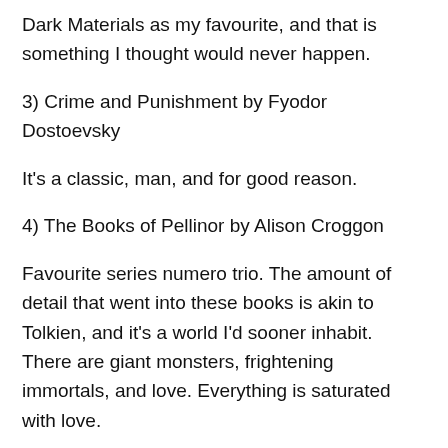Dark Materials as my favourite, and that is something I thought would never happen.
3) Crime and Punishment by Fyodor Dostoevsky
It's a classic, man, and for good reason.
4) The Books of Pellinor by Alison Croggon
Favourite series numero trio. The amount of detail that went into these books is akin to Tolkien, and it's a world I'd sooner inhabit. There are giant monsters, frightening immortals, and love. Everything is saturated with love.